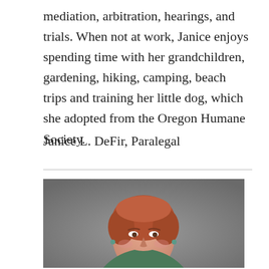mediation, arbitration, hearings, and trials. When not at work, Janice enjoys spending time with her grandchildren, gardening, hiking, camping, beach trips and training her little dog, which she adopted from the Oregon Humane Society.
Janice L. DeFir, Paralegal
[Figure (photo): Professional headshot of a woman with short reddish-auburn hair, wearing a green top, smiling, with a grey background.]